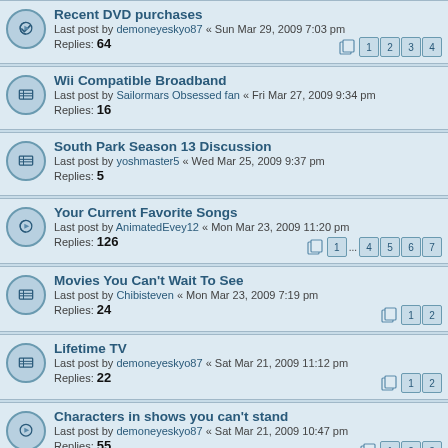Recent DVD purchases - Last post by demoneyeskyo87 « Sun Mar 29, 2009 7:03 pm - Replies: 64 - Pages: 1 2 3 4
Wii Compatible Broadband - Last post by Sailormars Obsessed fan « Fri Mar 27, 2009 9:34 pm - Replies: 16
South Park Season 13 Discussion - Last post by yoshmaster5 « Wed Mar 25, 2009 9:37 pm - Replies: 5
Your Current Favorite Songs - Last post by AnimatedEvey12 « Mon Mar 23, 2009 11:20 pm - Replies: 126 - Pages: 1 ... 4 5 6 7
Movies You Can't Wait To See - Last post by Chibisteven « Mon Mar 23, 2009 7:19 pm - Replies: 24 - Pages: 1 2
Lifetime TV - Last post by demoneyeskyo87 « Sat Mar 21, 2009 11:12 pm - Replies: 22 - Pages: 1 2
Characters in shows you can't stand - Last post by demoneyeskyo87 « Sat Mar 21, 2009 10:47 pm - Replies: 55 - Pages: 1 2 3
What does your desktop look like? - Last post by SailorBallerinaMoon « Fri Mar 13, 2009 3:24 pm - Replies: 117 - Pages: 1 2 3 4 5 6
What is everyone's religion???